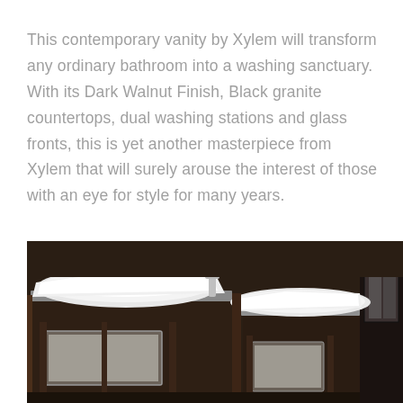This contemporary vanity by Xylem will transform any ordinary bathroom into a washing sanctuary. With its Dark Walnut Finish, Black granite countertops, dual washing stations and glass fronts, this is yet another masterpiece from Xylem that will surely arouse the interest of those with an eye for style for many years.
[Figure (photo): A bathroom vanity with white vessel sinks on dark walnut cabinet base with glass front panels, photographed from an angle showing dual washing stations.]